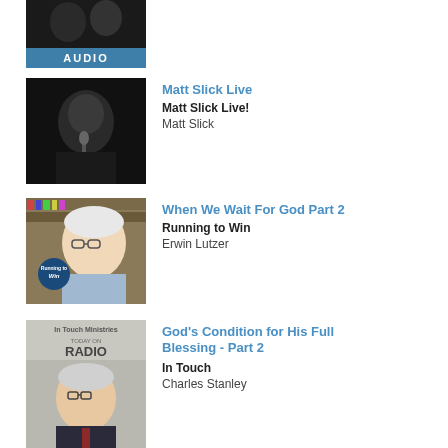[Figure (photo): A photo thumbnail with a blue bar at the bottom labeled AUDIO, showing two people]
[Figure (photo): Black and white photo of Matt Slick speaking with a microphone]
Matt Slick Live
Matt Slick Live!
Matt Slick
[Figure (photo): Photo of Erwin Lutzer with a 'Running to Win' logo badge, in front of bookshelves]
When We Wait For God Part 2
Running to Win
Erwin Lutzer
[Figure (photo): Photo of Charles Stanley with In Touch Ministries Today on Radio branding]
God's Condition for His Full Blessing - Part 2
In Touch
Charles Stanley